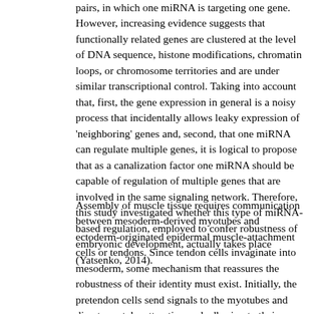pairs, in which one miRNA is targeting one gene. However, increasing evidence suggests that functionally related genes are clustered at the level of DNA sequence, histone modifications, chromatin loops, or chromosome territories and are under similar transcriptional control. Taking into account that, first, the gene expression in general is a noisy process that incidentally allows leaky expression of 'neighboring' genes and, second, that one miRNA can regulate multiple genes, it is logical to propose that as a canalization factor one miRNA should be capable of regulation of multiple genes that are involved in the same signaling network. Therefore, this study investigated whether this type of miRNA-based regulation, employed to confer robustness of embryonic development, actually takes place (Yatsenko, 2014).
Assembly of muscle tissue requires communication between mesoderm-derived myotubes and ectoderm-originated epidermal muscle-attachment cells or tendons. Since tendon cells invaginate into mesoderm, some mechanism that reassures the robustness of their identity must exist. Initially, the pretendon cells send signals to the myotubes and direct myotube attraction and adhesion to their target cells; subsequently, the muscle cells communicate a reciprocal signal to the epidermal muscle attachment cells, initiating their terminal differentiation into tendon-like cells. This